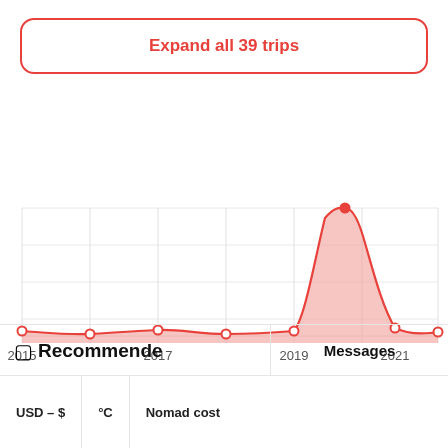Expand all 39 trips
[Figure (area-chart): Trips over time]
🔲 Recommended
Messages
USD – $
°C
Nomad cost